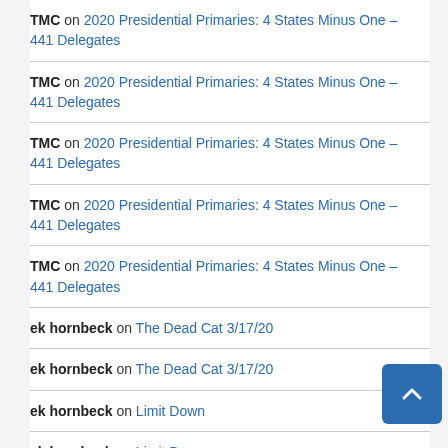TMC on 2020 Presidential Primaries: 4 States Minus One – 441 Delegates
TMC on 2020 Presidential Primaries: 4 States Minus One – 441 Delegates
TMC on 2020 Presidential Primaries: 4 States Minus One – 441 Delegates
TMC on 2020 Presidential Primaries: 4 States Minus One – 441 Delegates
TMC on 2020 Presidential Primaries: 4 States Minus One – 441 Delegates
ek hornbeck on The Dead Cat 3/17/20
ek hornbeck on The Dead Cat 3/17/20
ek hornbeck on Limit Down
ek hornbeck on Limit Down
ek hornbeck on Limit Down